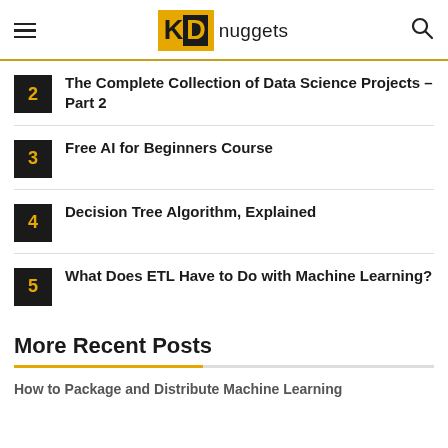KDnuggets
2 The Complete Collection of Data Science Projects – Part 2
3 Free AI for Beginners Course
4 Decision Tree Algorithm, Explained
5 What Does ETL Have to Do with Machine Learning?
More Recent Posts
How to Package and Distribute Machine Learning